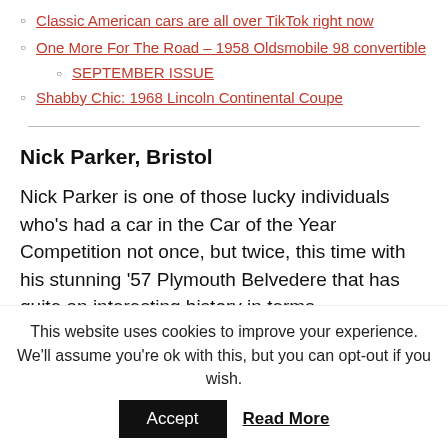Classic American cars are all over TikTok right now
One More For The Road – 1958 Oldsmobile 98 convertible
SEPTEMBER ISSUE
Shabby Chic: 1968 Lincoln Continental Coupe
Nick Parker, Bristol
Nick Parker is one of those lucky individuals who's had a car in the Car of the Year Competition not once, but twice, this time with his stunning '57 Plymouth Belvedere that has quite an interesting history in terms
This website uses cookies to improve your experience. We'll assume you're ok with this, but you can opt-out if you wish.